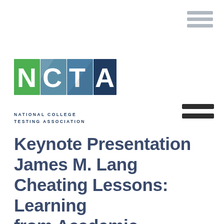[Figure (logo): NCTA National College Testing Association logo with colored letter blocks (N in green, C and T in teal/blue tones, A in dark blue) and organization name below]
Keynote Presentation James M. Lang Cheating Lessons: Learning from Academic Dishonesty